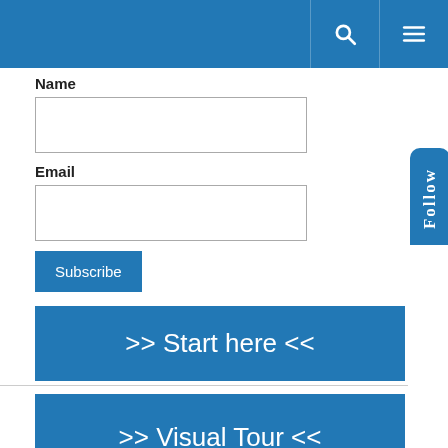Name
Email
Subscribe
[Figure (screenshot): Blue button with white text '>> Start here <<']
[Figure (screenshot): Blue button with white text '>> Visual Tour <<']
Categories
C++17
[Figure (screenshot): Blue vertical 'Follow' tab on the right side]